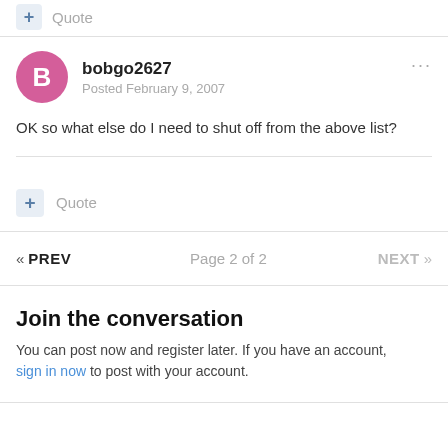Quote
bobgo2627
Posted February 9, 2007
OK so what else do I need to shut off from the above list?
Quote
« PREV   Page 2 of 2   NEXT »
Join the conversation
You can post now and register later. If you have an account, sign in now to post with your account.